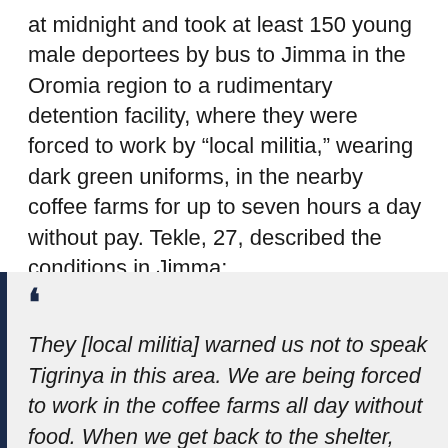at midnight and took at least 150 young male deportees by bus to Jimma in the Oromia region to a rudimentary detention facility, where they were forced to work by “local militia,” wearing dark green uniforms, in the nearby coffee farms for up to seven hours a day without pay. Tekle, 27, described the conditions in Jimma:
They [local militia] warned us not to speak Tigrinya in this area. We are being forced to work in the coffee farms all day without food. When we get back to the shelter, they lock us in and we are only given boiled maize to eat. We sleep in a simple